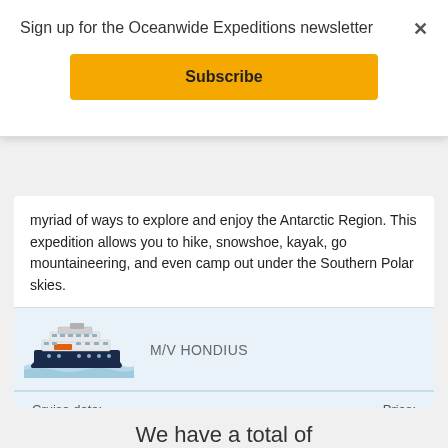Sign up for the Oceanwide Expeditions newsletter
Subscribe
myriad of ways to explore and enjoy the Antarctic Region. This expedition allows you to hike, snowshoe, kayak, go mountaineering, and even camp out under the Southern Polar skies.
[Figure (illustration): Illustrated ship M/V Hondius on water]
M/V HONDIUS
Cruise date:
22 Nov - 4 Dec, 2022
Price:
8850 USD
Show cruise >
We have a total of